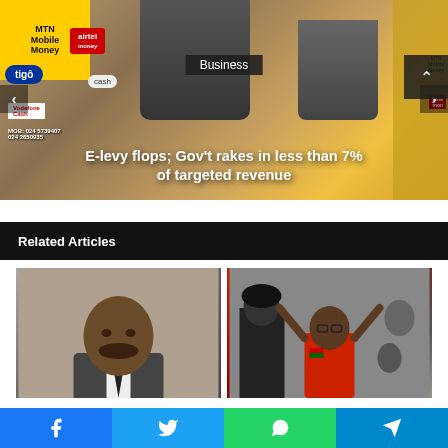[Figure (photo): Hero image of mobile money kiosks showing MTN Mobile Money, Airtel Money, Tigo Cash, Vodafone branding with people in the background]
Business
E-levy flops; Gov't rakes in less than 7% of targeted revenue
Related Articles
[Figure (photo): Portrait of a man in a suit with beard]
[Figure (photo): Man in red t-shirt with hands raised surrounded by crowd and police]